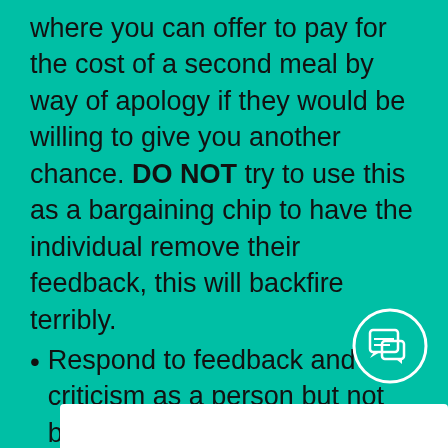where you can offer to pay for the cost of a second meal by way of apology if they would be willing to give you another chance. DO NOT try to use this as a bargaining chip to have the individual remove their feedback, this will backfire terribly.
Respond to feedback and criticism as a person but not by taking their comments personally. Know how to accept constructive criticism (even when it’s not presented particularly well) and use that feedback to better your business if possible.